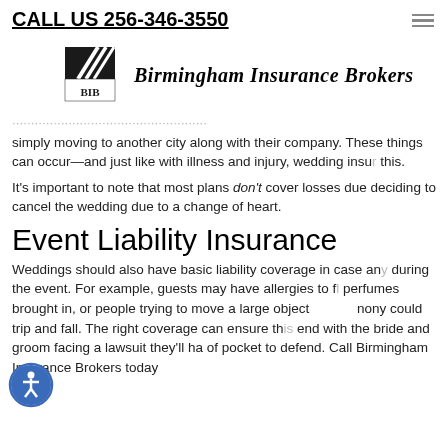CALL US 256-346-3550
[Figure (logo): Birmingham Insurance Brokers logo with 'BIB' text and stylized road/stripe graphic, next to italic bold text 'Birmingham Insurance Brokers']
simply moving to another city along with their company. These things can occur—and just like with illness and injury, wedding insurance can cover this.
It's important to note that most plans don't cover losses due to deciding to cancel the wedding due to a change of heart.
Event Liability Insurance
Weddings should also have basic liability coverage in case anything happens during the event. For example, guests may have allergies to flowers or perfumes brought in, or people trying to move a large object at the ceremony could trip and fall. The right coverage can ensure that things don't end with the bride and groom facing a lawsuit they'll have to pay out of pocket to defend. Call Birmingham Insurance Brokers today